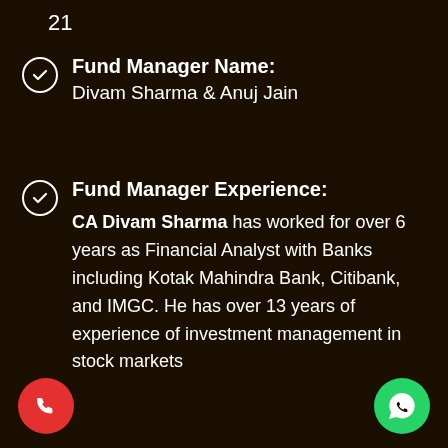21
Fund Manager Name: Divam Sharma & Anuj Jain
Fund Manager Experience: CA Divam Sharma has worked for over 6 years as Financial Analyst with Banks including Kotak Mahindra Bank, Citibank, and IMGC. He has over 13 years of experience of investment management in stock markets